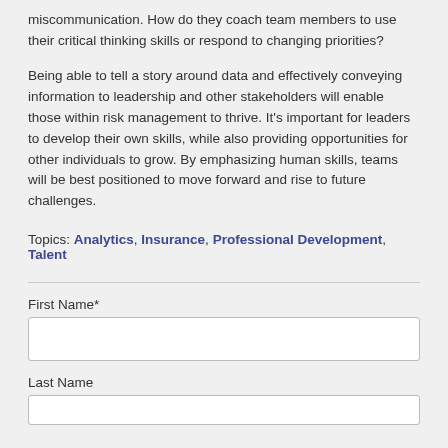miscommunication. How do they coach team members to use their critical thinking skills or respond to changing priorities?
Being able to tell a story around data and effectively conveying information to leadership and other stakeholders will enable those within risk management to thrive. It's important for leaders to develop their own skills, while also providing opportunities for other individuals to grow. By emphasizing human skills, teams will be best positioned to move forward and rise to future challenges.
Topics: Analytics, Insurance, Professional Development, Talent
First Name*
Last Name